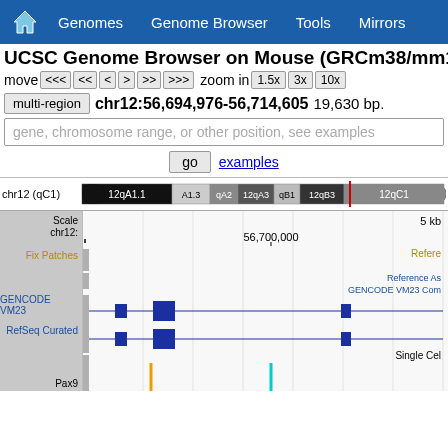🏠  Genomes  Genome Browser  Tools  Mirrors
UCSC Genome Browser on Mouse (GRCm38/mm10)
move  <<<  <<  <  >  >>  >>>  zoom in  1.5x  3x  10x
multi-region  chr12:56,694,976-56,714,605  19,630 bp.
gene, chromosome range, or other position, see examples
go  examples
[Figure (screenshot): Chromosome 12 ideogram showing bands: 12qA1.1, A1.3, qA2, 12qA3, qB1, 12qB3, 12qC1 with red position marker at 12qC1]
[Figure (screenshot): UCSC Genome Browser tracks showing Scale, chr12 position 56,700,000, Fix Patches, Reference Assembly, GENCODE VM23 Comprehensive, RefSeq Curated, Single Cell, and Pax9 tracks at chr12:56,694,976-56,714,605]